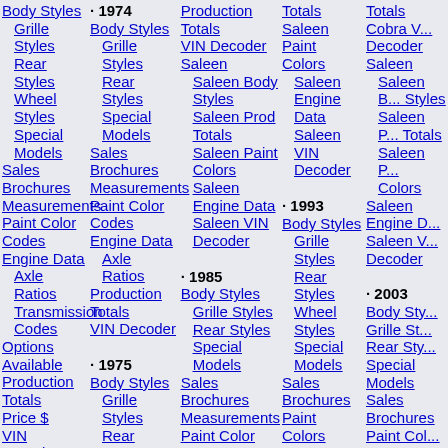Body Styles
Grille Styles
Rear Styles
Wheel Styles
Special Models
Sales Brochures
Measurements
Paint Color Codes
Engine Data
Axle Ratios
Transmission Codes
Options Available
Production Totals
Price $
VIN Decoder
Shelby
Shelby Body Styles
Shelby Grille Styles